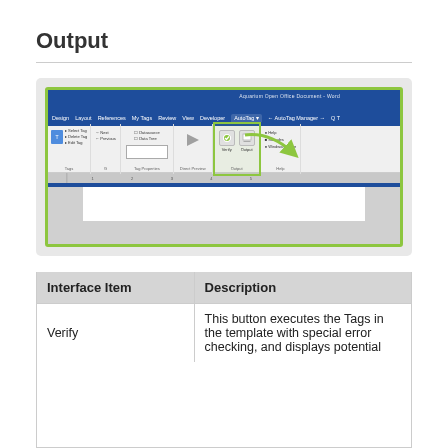Output
[Figure (screenshot): Screenshot of Microsoft Word ribbon interface showing the AutoTag tab with the Output group highlighted in a green border. A green arrow points to the Output group containing Verify and Output buttons.]
| Interface Item | Description |
| --- | --- |
| Verify | This button executes the Tags in the template with special error checking, and displays potential |